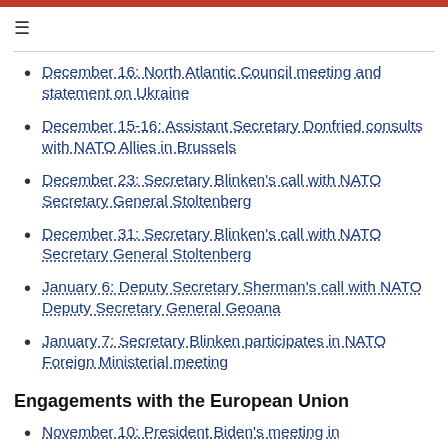December 16: North Atlantic Council meeting and statement on Ukraine
December 15-16: Assistant Secretary Donfried consults with NATO Allies in Brussels
December 23: Secretary Blinken's call with NATO Secretary General Stoltenberg
December 31: Secretary Blinken's call with NATO Secretary General Stoltenberg
January 6: Deputy Secretary Sherman's call with NATO Deputy Secretary General Geoana
January 7: Secretary Blinken participates in NATO Foreign Ministerial meeting
Engagements with the European Union
November 10: President Biden's meeting in